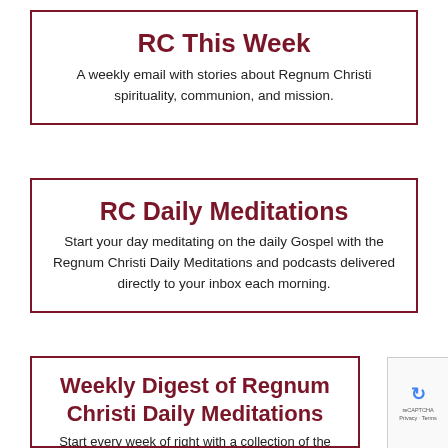RC This Week
A weekly email with stories about Regnum Christi spirituality, communion, and mission.
RC Daily Meditations
Start your day meditating on the daily Gospel with the Regnum Christi Daily Meditations and podcasts delivered directly to your inbox each morning.
Weekly Digest of Regnum Christi Daily Meditations
Start every week of right with a collection of the